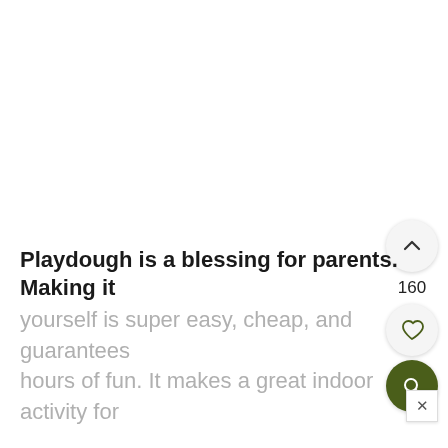[Figure (screenshot): UI overlay with upvote button (chevron up icon), vote count 160, heart/favorite button, and dark green search button, plus a close (×) button, positioned on the right side of the screen]
Playdough is a blessing for parents. Making it yourself is super easy, cheap, and guarantees hours of fun. It makes a great indoor activity for
160